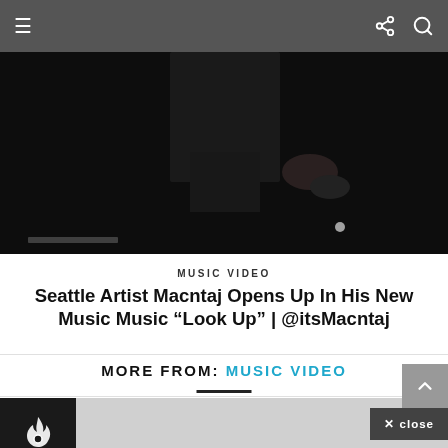[Figure (screenshot): Navigation bar with hamburger menu icon on left and share/search icons on right, dark gray background]
[Figure (photo): Dark music video still image showing a person's hands in dim lighting]
MUSIC VIDEO
Seattle Artist Macntaj Opens Up In His New Music Music “Look Up” | @itsMacntaj
MORE FROM: MUSIC VIDEO
[Figure (screenshot): Related content thumbnail area with fire icon logo and gray placeholder image]